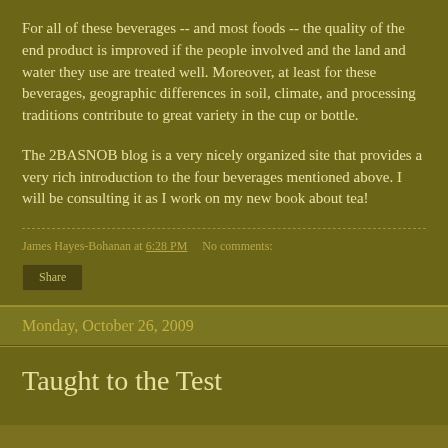For all of these beverages -- and most foods -- the quality of the end product is improved if the people involved and the land and water they use are treated well. Moreover, at least for these beverages, geographic differences in soil, climate, and processing traditions contribute to great variety in the cup or bottle.
The 2BASNOB blog is a very nicely organized site that provides a very rich introduction to the four beverages mentioned above. I will be consulting it as I work on my new book about tea!
James Hayes-Bohanan at 6:28 PM    No comments:
Share
Monday, October 26, 2009
Taught to the Test